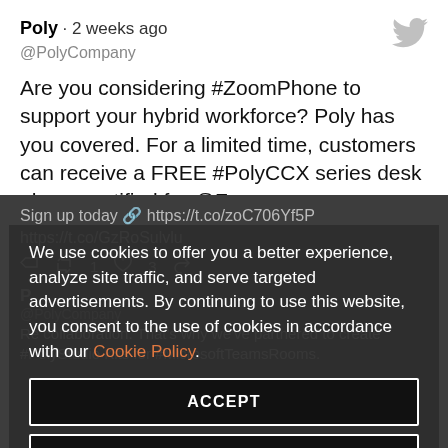Poly · 2 weeks ago
@PolyCompany
Are you considering #ZoomPhone to support your hybrid workforce? Poly has you covered. For a limited time, customers can receive a FREE #PolyCCX series desk phone certified for @Zoom.
Sign up today 🔗 https://t.co/zoC706Yf5P
https://t.co/GzRoSulvlu
[Figure (screenshot): Cookie consent overlay banner with ACCEPT and MANAGE CHOICES buttons, cookie policy text with orange link, overlaid on dark background tweet section]
We use cookies to offer you a better experience, analyze site traffic, and serve targeted advertisements. By continuing to use this website, you consent to the use of cookies in accordance with our Cookie Policy.
ACCEPT
MANAGE CHOICES
@PolyCompany
collaboration. That's why we've partnered to create #PolyStudio Kits for #MicrosoftTeamsRooms.